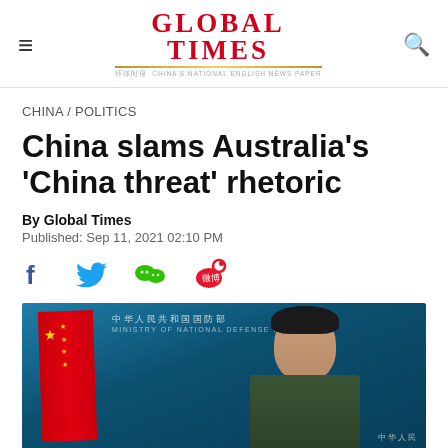Global Times
CHINA / POLITICS
China slams Australia's 'China threat' rhetoric
By Global Times
Published: Sep 11, 2021 02:10 PM
[Figure (photo): A Chinese military spokesperson standing at a podium with a Chinese flag in the background and a teal Ministry of National Defense banner behind him.]